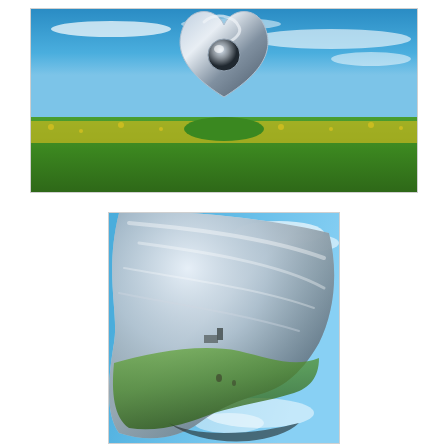[Figure (photo): A large mirrored chrome heart-shaped sculpture with a spherical mirror center, standing in a green field with yellow wildflowers under a blue sky with wispy clouds.]
[Figure (photo): Close-up of a highly polished reflective silver sculpture surface showing a distorted wide-angle reflection of green fields, buildings on a hill, and blue sky with clouds — resembling a tiny planet or fish-eye view.]